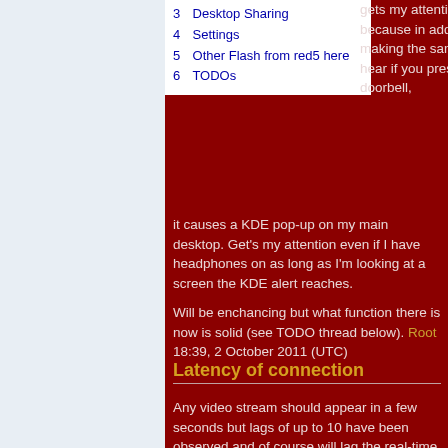3 Desktop Sharing
4 Settings
5 Other Flash from red5 here
6 TODOs
gets my attention best because in addition to making the same sound you hear if you press the doorbell, it causes a KDE pop-up on my main desktop. Get's my attention even if I have headphones on as long as I'm looking at a screen the KDE alert reaches.
Will be enchancing but what function there is now is solid (see TODO thread below). Root 18:39, 2 October 2011 (UTC)
Latency of connection
Any video stream should appear in a few seconds but lags of up to 10 have been observed and of course will lag the real-time of a phone call. The live video stream should not be off by more than a few seconds from the real-time of a phone call.